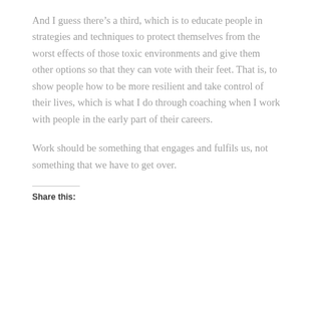And I guess there’s a third, which is to educate people in strategies and techniques to protect themselves from the worst effects of those toxic environments and give them other options so that they can vote with their feet. That is, to show people how to be more resilient and take control of their lives, which is what I do through coaching when I work with people in the early part of their careers.
Work should be something that engages and fulfils us, not something that we have to get over.
Share this: